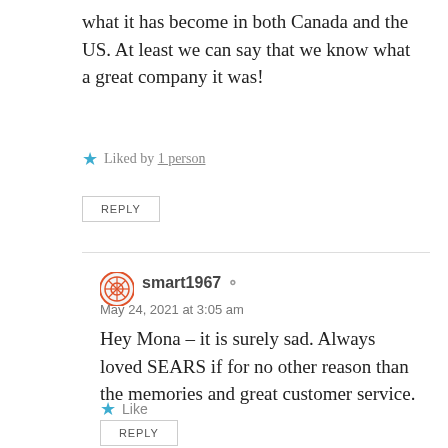what it has become in both Canada and the US. At least we can say that we know what a great company it was!
Liked by 1 person
REPLY
smart1967
May 24, 2021 at 3:05 am
Hey Mona – it is surely sad. Always loved SEARS if for no other reason than the memories and great customer service.
Like
REPLY